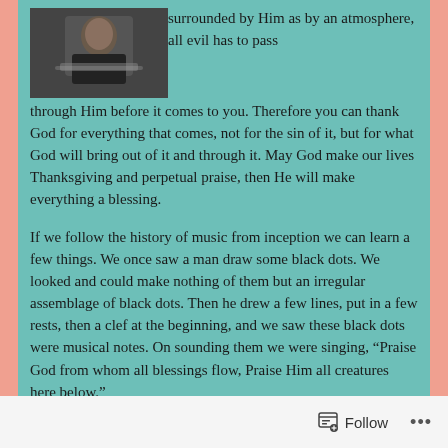[Figure (photo): Portrait photo of a person in formal attire with a decorative collar/chain]
surrounded by Him as by an atmosphere, all evil has to pass through Him before it comes to you. Therefore you can thank God for everything that comes, not for the sin of it, but for what God will bring out of it and through it. May God make our lives Thanksgiving and perpetual praise, then He will make everything a blessing.
If we follow the history of music from inception we can learn a few things. We once saw a man draw some black dots. We looked and could make nothing of them but an irregular assemblage of black dots. Then he drew a few lines, put in a few rests, then a clef at the beginning, and we saw these black dots were musical notes. On sounding them we were singing, “Praise God from whom all blessings flow, Praise Him all creatures here below.”
There are many black dots and black spots in our lives, and we
Follow •••